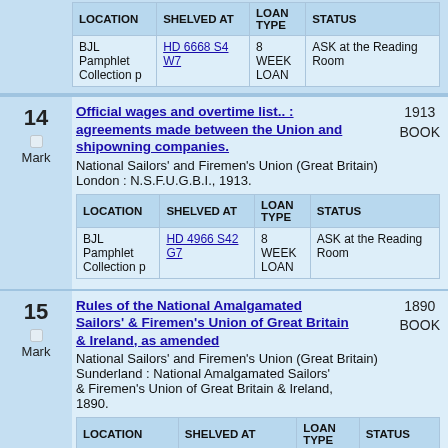| LOCATION | SHELVED AT | LOAN TYPE | STATUS |
| --- | --- | --- | --- |
| BJL Pamphlet Collection p | HD 6668 S4 W7 | 8 WEEK LOAN | ASK at the Reading Room |
14
Official wages and overtime list.. : agreements made between the Union and shipowning companies.
National Sailors' and Firemen's Union (Great Britain)
London : N.S.F.U.G.B.I., 1913.
1913 BOOK
| LOCATION | SHELVED AT | LOAN TYPE | STATUS |
| --- | --- | --- | --- |
| BJL Pamphlet Collection p | HD 4966 S42 G7 | 8 WEEK LOAN | ASK at the Reading Room |
15
Rules of the National Amalgamated Sailors' & Firemen's Union of Great Britain & Ireland, as amended
National Sailors' and Firemen's Union (Great Britain)
Sunderland : National Amalgamated Sailors' & Firemen's Union of Great Britain & Ireland, 1890.
1890 BOOK
| LOCATION | SHELVED AT | LOAN TYPE | STATUS |
| --- | --- | --- | --- |
| BJL basement journals | HD 6668 S4 N25 | 7 DAYS | ASK at the Reading Room |